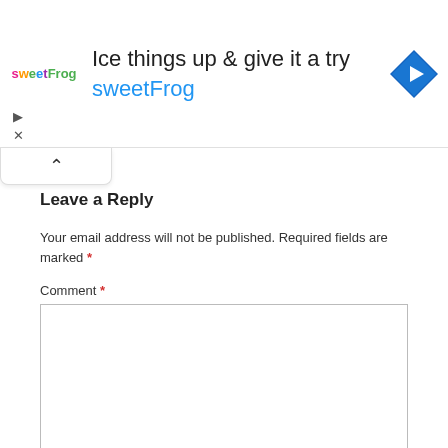[Figure (screenshot): Advertisement banner for sweetFrog frozen yogurt: headline 'Ice things up & give it a try', brand name 'sweetFrog' in blue, logo in top left, blue diamond navigation icon top right, with play and close controls.]
Leave a Reply
Your email address will not be published. Required fields are marked *
Comment *
Name *